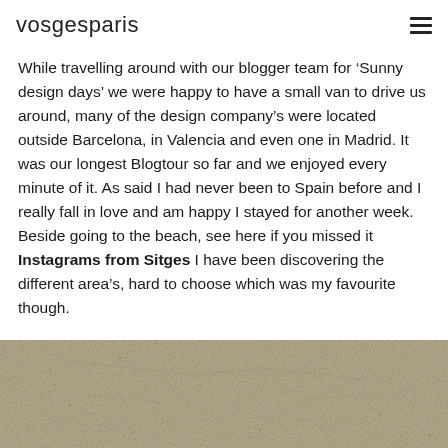vosgesparis
While travelling around with our blogger team for 'Sunny design days' we were happy to have a small van to drive us around, many of the design company's were located outside Barcelona, in Valencia and even one in Madrid. It was our longest Blogtour so far and we enjoyed every minute of it. As said I had never been to Spain before and I really fall in love and am happy I stayed for another week. Beside going to the beach, see here if you missed it Instagrams from Sitges I have been discovering the different area's, hard to choose which was my favourite though.
[Figure (photo): Sandy beach surface texture, close-up photo of sand with faint impressions or markings visible]